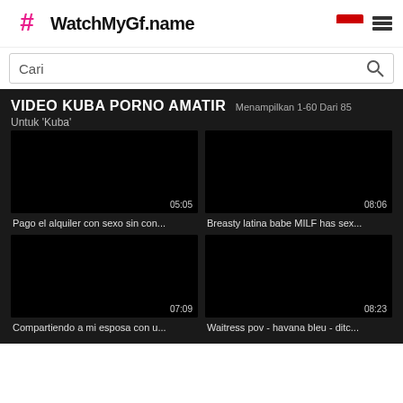WatchMyGf.name
Cari
VIDEO KUBA PORNO AMATIR Menampilkan 1-60 Dari 85 Untuk 'Kuba'
[Figure (screenshot): Black video thumbnail with duration 05:05]
Pago el alquiler con sexo sin con...
[Figure (screenshot): Black video thumbnail with duration 08:06]
Breasty latina babe MILF has sex...
[Figure (screenshot): Black video thumbnail with duration 07:09]
Compartiendo a mi esposa con u...
[Figure (screenshot): Black video thumbnail with duration 08:23]
Waitress pov - havana bleu - ditc...